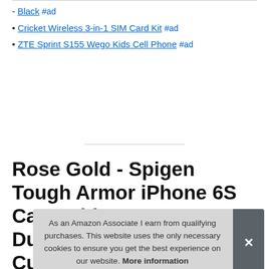- Black #ad
• Cricket Wireless 3-in-1 SIM Card Kit #ad
• ZTE Sprint S155 Wego Kids Cell Phone #ad
Rose Gold - Spigen Tough Armor iPhone 6S Case with Extreme Heavy Duty Protection and Air Cushion Techonology for iPhone 6S 2015
As an Amazon Associate I earn from qualifying purchases. This website uses the only necessary cookies to ensure you get the best experience on our website. More information